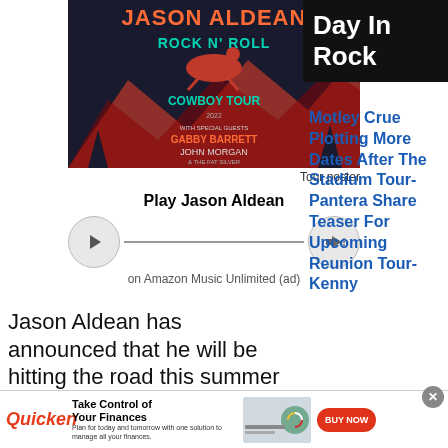[Figure (photo): Jason Aldean Rock N' Roll Cowboy Tour 2022 concert poster with Gabby Barrett and John Morgan, dark background with red/teal text and cowboy on horse silhouette]
Tour poster
[Figure (other): Amazon Music audio player widget with play button and volume control]
Play Jason Aldean on Amazon Music Unlimited (ad)
Jason Aldean has announced that he will be hitting the road this summer with his Rock N' Roll Cowboy Tour in support of his two-part album
Day In Rock
Motley Crue Plotting More Dates After The Stadium Tour- Pantera Share Teaser For Upcoming Reunion Tour- Kenny
[Figure (photo): Quicken advertisement banner: Take Control of Your Finances - BUY NOW button]